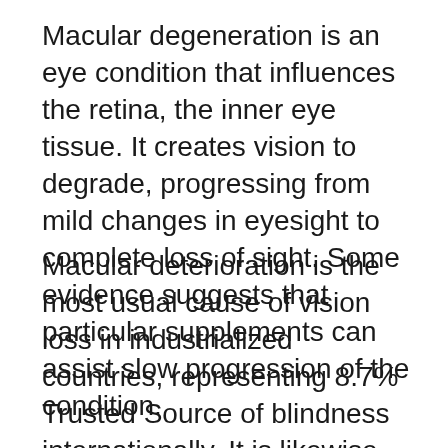Macular degeneration is an eye condition that influences the retina, the inner eye tissue. It creates vision to degrade, progressing from mild changes in eyesight to complete loss of sight. Some evidence suggests that particular supplements can assist slow progression of the condition.
Macular deterioration is the most usual cause of vision loss in industrialized countries, representing 8.7% Trusted Source of blindness internationally. It is likewise the leading reason for vision loss in older adults. Presently, there is no remedy, and treatments intend to lower the speed at which macular deterioration advances, to delay the effects on vision. Evidence recommends that nutritional supplements